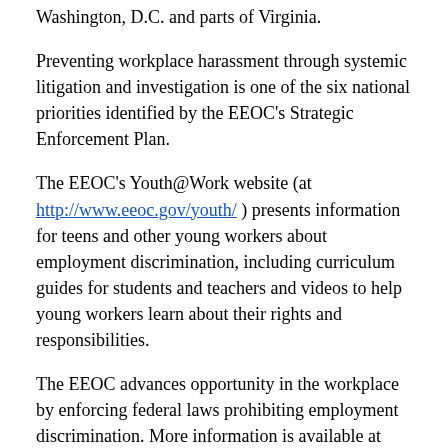Washington, D.C. and parts of Virginia.
Preventing workplace harassment through systemic litigation and investigation is one of the six national priorities identified by the EEOC's Strategic Enforcement Plan.
The EEOC's Youth@Work website (at http://www.eeoc.gov/youth/ ) presents information for teens and other young workers about employment discrimination, including curriculum guides for students and teachers and videos to help young workers learn about their rights and responsibilities.
The EEOC advances opportunity in the workplace by enforcing federal laws prohibiting employment discrimination. More information is available at www.eeoc.gov. Stay connected with the latest EEOC news by subscribing to our email updates.